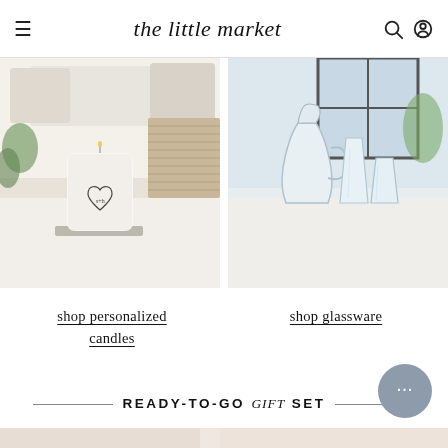the little market
[Figure (photo): White candle in a glass jar with a heart monogram, sitting on a stone coaster on a white table, with a wicker basket and plants in the background.]
[Figure (photo): Clear glass carafe and two drinking glasses on a white surface with a bright window and green plant in the background.]
shop personalized candles
shop glassware
READY-TO-GO gift SET
[Figure (photo): Partial bottom teaser image of gift set products.]